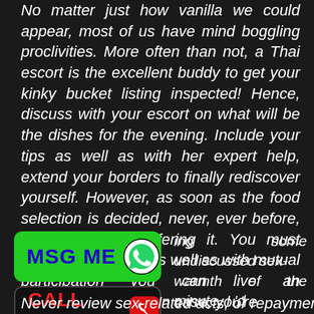No matter just how vanilla we could appear, most of us have mind boggling proclivities. More often than not, a Thai escort is the excellent buddy to get your kinky bucket listing inspected! Hence, discuss with your escort on what will be the dishes for the evening. Include your tips as well as with her expert help, extend your borders to finally rediscover yourself. However, as soon as the food selection is decided, never, ever before, EVER think of differing it. You must value her decision as well as with mutual participation you can live an unforgettable night. In case, you're ... ing some undiscussed sex- ... warmth of the minute, I 'd ... m that idea. Generally, it'll be ... and may dirt the mood.
[Figure (infographic): Green MSG ME button with WhatsApp icon]
[Figure (infographic): Black CALL NOW button with red phone icon]
Never review sex-related acts, or repayment